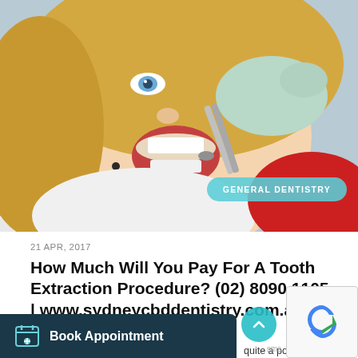[Figure (photo): A blonde woman with blue eyes lying in a dental chair with mouth open, a gloved dental professional using dental forceps/extraction tool near her teeth.]
GENERAL DENTISTRY
21 APR, 2017
How Much Will You Pay For A Tooth Extraction Procedure? (02) 8090 1105 | www.sydneycbddentistry.com.au
quite a popular proced... number of individuals di...